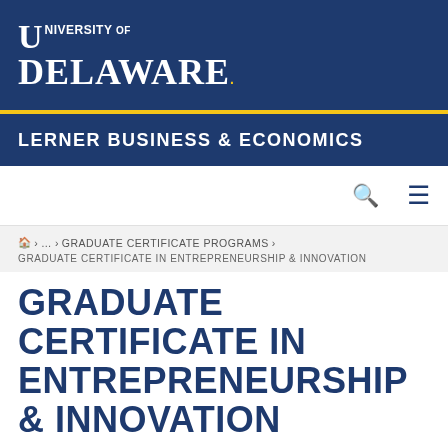[Figure (logo): University of Delaware logo in white on navy background]
LERNER BUSINESS & ECONOMICS
🔍  ≡
🏠 > … > GRADUATE CERTIFICATE PROGRAMS > GRADUATE CERTIFICATE IN ENTREPRENEURSHIP & INNOVATION
GRADUATE CERTIFICATE IN ENTREPRENEURSHIP & INNOVATION
[Figure (photo): Students in a classroom or collaborative setting]